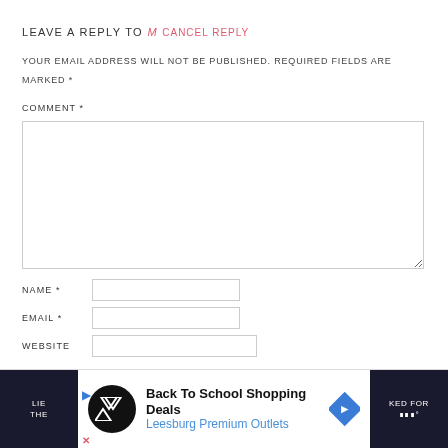LEAVE A REPLY TO M CANCEL REPLY
YOUR EMAIL ADDRESS WILL NOT BE PUBLISHED. REQUIRED FIELDS ARE MARKED *
COMMENT *
NAME *
EMAIL *
WEBSITE
[Figure (screenshot): Advertisement banner for Back To School Shopping Deals at Leesburg Premium Outlets]